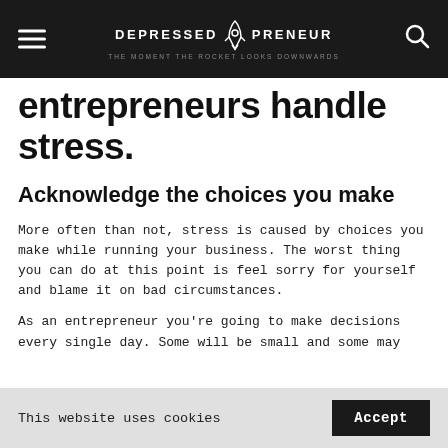DEPRESSED PRENEUR — THE MOMENT THE ROCKET LOOKS DOWNWARDS
entrepreneurs handle stress.
Acknowledge the choices you make
More often than not, stress is caused by choices you make while running your business. The worst thing you can do at this point is feel sorry for yourself and blame it on bad circumstances.
As an entrepreneur you're going to make decisions every single day. Some will be small and some may
This website uses cookies